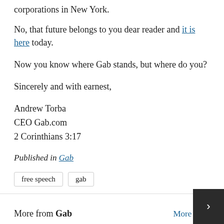corporations in New York.
No, that future belongs to you dear reader and it is here today.
Now you know where Gab stands, but where do you?
Sincerely and with earnest,
Andrew Torba
CEO Gab.com
2 Corinthians 3:17
Published in Gab
free speech
gab
More from Gab
More posts in